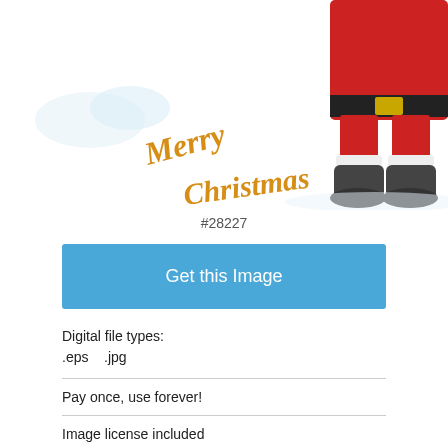[Figure (illustration): Partial illustration of Santa Claus lower body in red suit with black boots, and cursive golden 'Merry Christmas' text. Copyright watermark: © Dennis Cox. White snowy background.]
#28227
Get this Image
Digital file types:
.eps   .jpg
Pay once, use forever!
Image license included